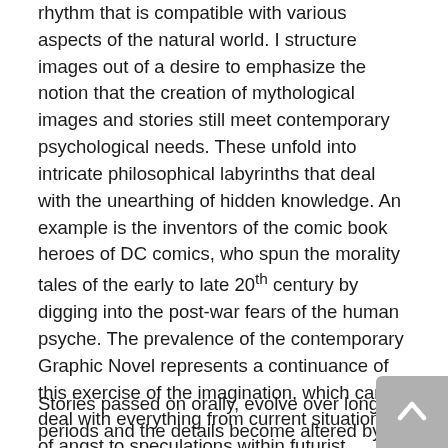rhythm that is compatible with various aspects of the natural world. I structure images out of a desire to emphasize the notion that the creation of mythological images and stories still meet contemporary psychological needs. These unfold into intricate philosophical labyrinths that deal with the unearthing of hidden knowledge. An example is the inventors of the comic book heroes of DC comics, who spun the morality tales of the early to late 20th century by digging into the post-war fears of the human psyche. The prevalence of the contemporary Graphic Novel represents a continuance of this exercise of the imagination, which can deal with everything from current situations of angst to speculations within futurist philosophy.
Stories passed on orally, evolve over long periods and the details become altered by different storytellers, and changing contexts to suit different audiences and circumstances, including cultural and linguistic changes